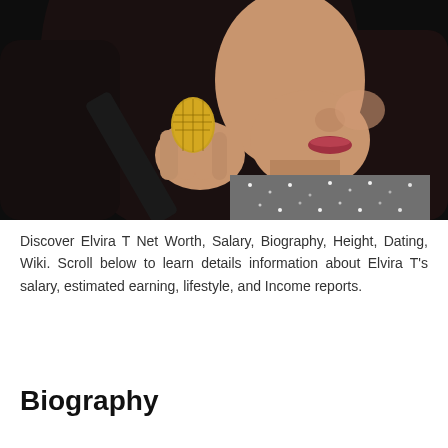[Figure (photo): A woman with long dark hair singing into a microphone with a gold mesh head, wearing a sparkly top, photographed against a dark background]
Discover Elvira T Net Worth, Salary, Biography, Height, Dating, Wiki. Scroll below to learn details information about Elvira T's salary, estimated earning, lifestyle, and Income reports.
Biography